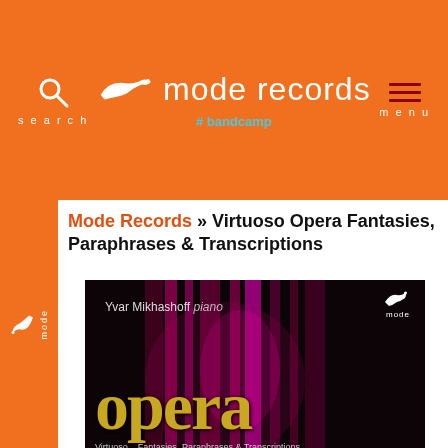mode records | search | bandcamp | menu
Mode Records » Virtuoso Opera Fantasies, Paraphrases & Transcriptions
[Figure (photo): Album cover for 'opera: Virtuoso Fantasies, Paraphrases & Transcriptions' performed by Yvar Mikhashoff piano, on Mode Records. Dark background with glowing pink/magenta light columns and large gold serif 'opera' text.]